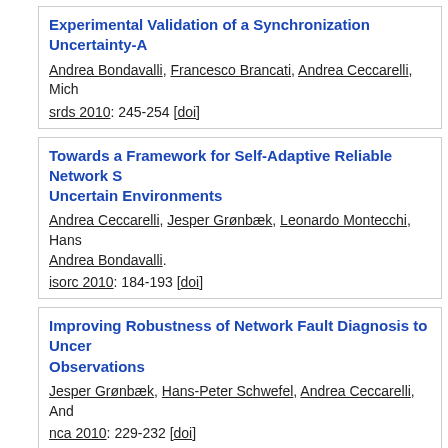Experimental Validation of a Synchronization Uncertainty-A
Andrea Bondavalli, Francesco Brancati, Andrea Ceccarelli, Mich
srds 2010: 245-254 [doi]
Towards a Framework for Self-Adaptive Reliable Network S
Uncertain Environments
Andrea Ceccarelli, Jesper Grønbæk, Leonardo Montecchi, Hans
Andrea Bondavalli.
isorc 2010: 184-193 [doi]
Improving Robustness of Network Fault Diagnosis to Uncer
Observations
Jesper Grønbæk, Hans-Peter Schwefel, Andrea Ceccarelli, And
nca 2010: 229-232 [doi]
2009